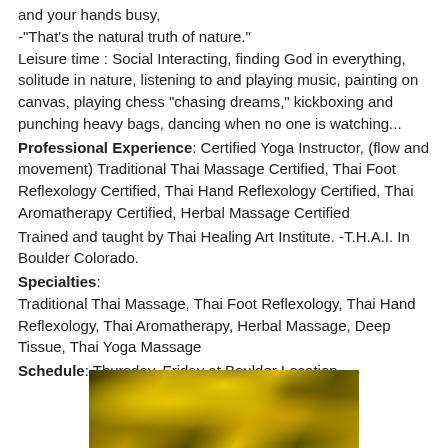and your hands busy,
-"That's the natural truth of nature."
Leisure time : Social Interacting, finding God in everything, solitude in nature, listening to and playing music, painting on canvas, playing chess "chasing dreams," kickboxing and punching heavy bags, dancing when no one is watching...
Professional Experience: Certified Yoga Instructor, (flow and movement) Traditional Thai Massage Certified, Thai Foot Reflexology Certified, Thai Hand Reflexology Certified, Thai Aromatherapy Certified, Herbal Massage Certified
Trained and taught by Thai Healing Art Institute. -T.H.A.I. In Boulder Colorado.
Specialties:
Traditional Thai Massage, Thai Foot Reflexology, Thai Hand Reflexology, Thai Aromatherapy, Herbal Massage, Deep Tissue, Thai Yoga Massage
Schedule: Thursday, Friday at Boulder Location.
[Figure (photo): A close-up photo with golden yellow and dark grey-green colors, possibly herbs or a natural texture related to Thai massage or herbal treatment.]